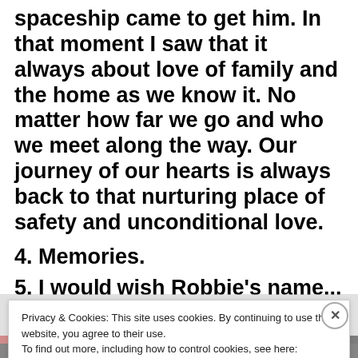spaceship came to get him.  In that moment I saw that it always about love of family and the home as we know it.  No matter how far we go and who we meet along the way.  Our journey of our hearts is always back to that nurturing place of safety and unconditional love.
4. Memories.
5. I would wish Robbie's name... (partially visible)
Privacy & Cookies: This site uses cookies. By continuing to use this website, you agree to their use.
To find out more, including how to control cookies, see here:
Cookie Policy